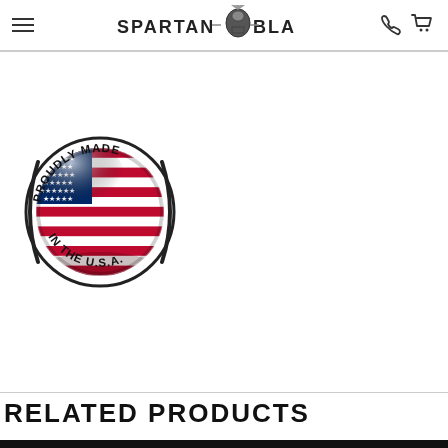Spartan Blades — navigation header with hamburger menu, logo, phone and cart icons
[Figure (logo): Circular badge reading 'PROUDLY MADE IN THE U.S.A.' with a glossy American flag sphere in the center, on a white background]
RELATED PRODUCTS